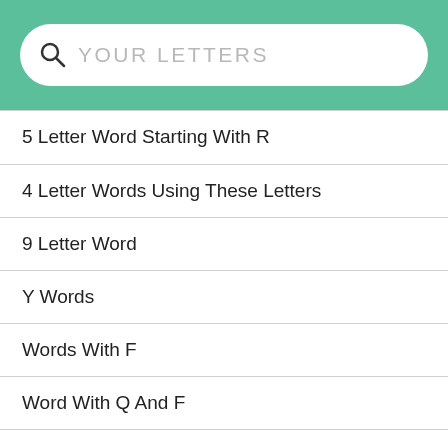YOUR LETTERS
5 Letter Word Starting With R
4 Letter Words Using These Letters
9 Letter Word
Y Words
Words With F
Word With Q And F
Words With H And Q
V Words
Words With K And V In Them